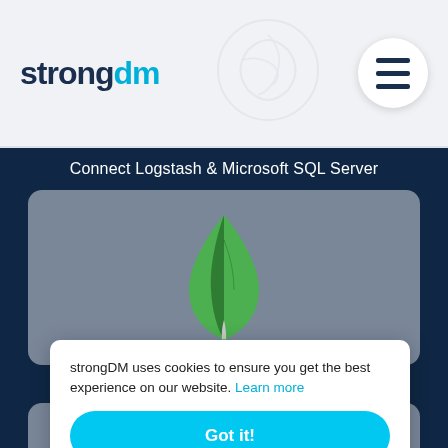[Figure (logo): strongDM logo with 'strong' in dark navy and 'dm' in cyan blue]
[Figure (illustration): Hamburger menu icon in a white circle]
Connect Logstash & Microsoft SQL Server
[Figure (logo): MongoDB leaf logo in green on a gray rounded rectangle card]
Connect Logstash & MongoDB
strongDM uses cookies to ensure you get the best experience on our website. Learn more
Got it!